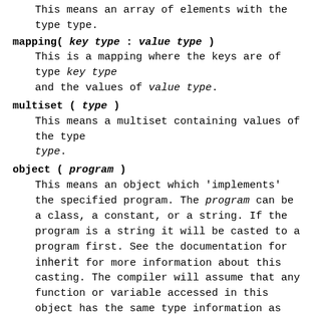This means an array of elements with the type type.
mapping( key type : value type )
This is a mapping where the keys are of type key type and the values of value type.
multiset ( type )
This means a multiset containing values of the type type.
object ( program )
This means an object which 'implements' the specified program. The program can be a class, a constant, or a string. If the program is a string it will be casted to a program first. See the documentation for inherit for more information about this casting. The compiler will assume that any function or variable accessed in this object has the same type information as that function or variable has in program.
program
This too means 'an object which implements program'. program can be a class or a constant.
function( argument types : return type )